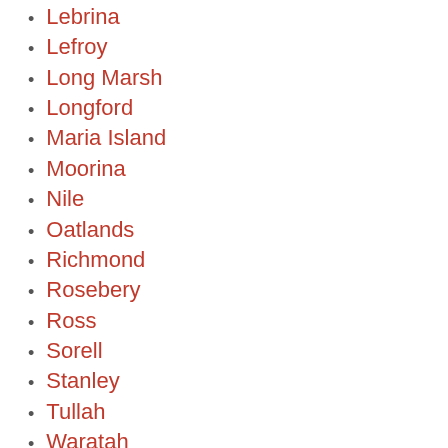Lebrina
Lefroy
Long Marsh
Longford
Maria Island
Moorina
Nile
Oatlands
Richmond
Rosebery
Ross
Sorell
Stanley
Tullah
Waratah
Weldborough
Region
Derwent Valley
East Coast
Fingal Valley
Meander Valley